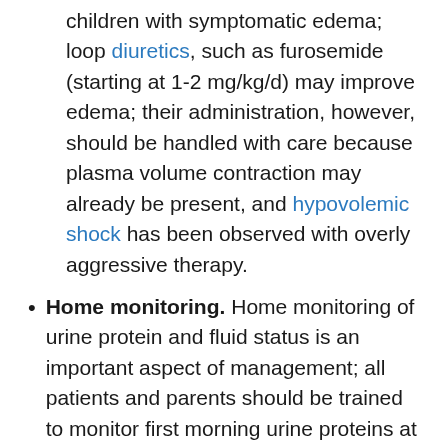children with symptomatic edema; loop diuretics, such as furosemide (starting at 1-2 mg/kg/d) may improve edema; their administration, however, should be handled with care because plasma volume contraction may already be present, and hypovolemic shock has been observed with overly aggressive therapy.
Home monitoring. Home monitoring of urine protein and fluid status is an important aspect of management; all patients and parents should be trained to monitor first morning urine proteins at home with urine dipstick; urine testing at home is also useful in monitoring response (or non-response) to treatment...